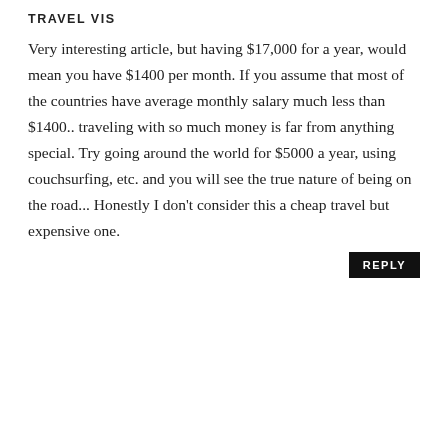TRAVEL VIS
Very interesting article, but having $17,000 for a year, would mean you have $1400 per month. If you assume that most of the countries have average monthly salary much less than $1400.. traveling with so much money is far from anything special. Try going around the world for $5000 a year, using couchsurfing, etc. and you will see the true nature of being on the road... Honestly I don't consider this a cheap travel but expensive one.
[Figure (photo): Profile photo of a young woman with long dark hair]
UPCYCLEDBLISS
She did not say this was the cheapest way to travel but that she travels full time for YEARS at a time, indefinitely, as a JOB for 17,000 including business expenses. She says you can travel for more or less depending on your needs but she chooses to travel more comfortably because she can. Also if she wants to change all that she can. Also bold her and...